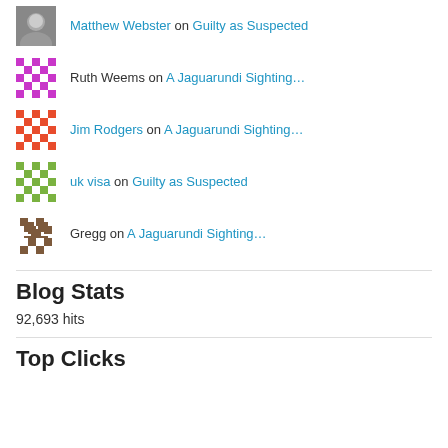Matthew Webster on Guilty as Suspected
Ruth Weems on A Jaguarundi Sighting…
Jim Rodgers on A Jaguarundi Sighting…
uk visa on Guilty as Suspected
Gregg on A Jaguarundi Sighting…
Blog Stats
92,693 hits
Top Clicks